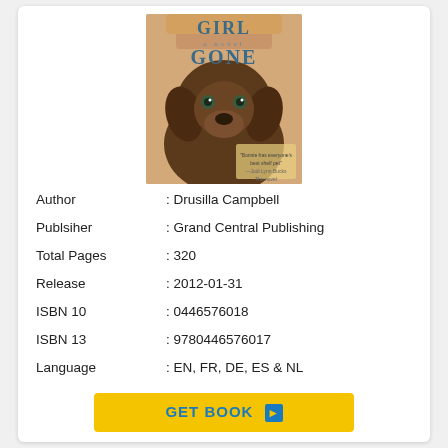[Figure (illustration): Book cover of 'Girl Gone' showing a brown dog and a person, with text 'GIRL GONE' and a quote]
| Author | : Drusilla Campbell |
| Publsiher | : Grand Central Publishing |
| Total Pages | : 320 |
| Release | : 2012-01-31 |
| ISBN 10 | : 0446576018 |
| ISBN 13 | : 9780446576017 |
| Language | : EN, FR, DE, ES & NL |
GET BOOK ▶